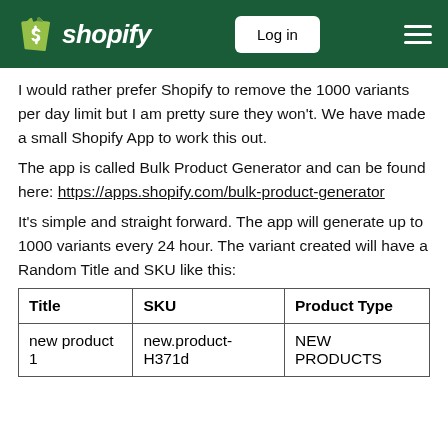shopify | Log in
I would rather prefer Shopify to remove the 1000 variants per day limit but I am pretty sure they won't. We have made a small Shopify App to work this out.
The app is called Bulk Product Generator and can be found here: https://apps.shopify.com/bulk-product-generator
It's simple and straight forward. The app will generate up to 1000 variants every 24 hour. The variant created will have a Random Title and SKU like this:
| Title | SKU | Product Type |
| --- | --- | --- |
| new product 1 | new.product-H371d | NEW PRODUCTS |